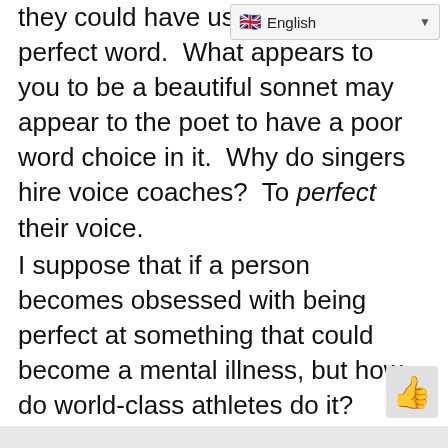they could have used a more perfect word.  What appears to you to be a beautiful sonnet may appear to the poet to have a poor word choice in it.  Why do singers hire voice coaches?  To perfect their voice.
I suppose that if a person becomes obsessed with being perfect at something that could become a mental illness, but how do world-class athletes do it?  They do, I have already conceded, start with baby steps.  I read an article by a psychologist who used the exact same